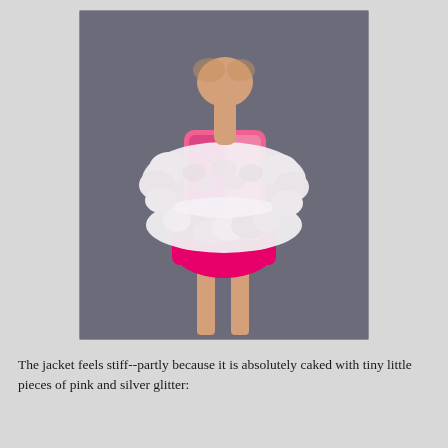[Figure (photo): Close-up photo of a fashion doll wearing a bright pink outfit with a fluffy white feather/curly boa wrap draped around the torso and shoulders. The doll wears a pink glitter jacket underneath and a hot pink skirt. The background is dark gray.]
The jacket feels stiff--partly because it is absolutely caked with tiny little pieces of pink and silver glitter: